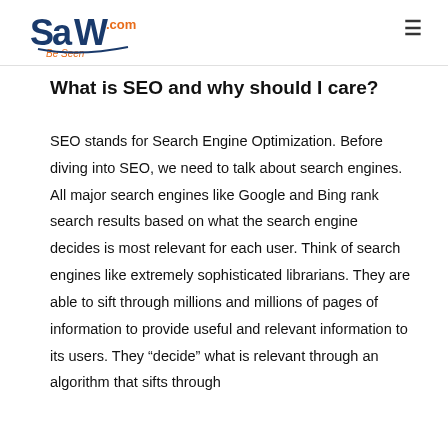saw.com Be Seen
What is SEO and why should I care?
SEO stands for Search Engine Optimization. Before diving into SEO, we need to talk about search engines. All major search engines like Google and Bing rank search results based on what the search engine decides is most relevant for each user. Think of search engines like extremely sophisticated librarians. They are able to sift through millions and millions of pages of information to provide useful and relevant information to its users. They “decide” what is relevant through an algorithm that sifts through